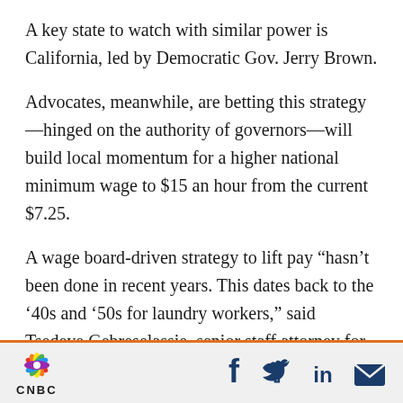A key state to watch with similar power is California, led by Democratic Gov. Jerry Brown.
Advocates, meanwhile, are betting this strategy—hinged on the authority of governors—will build local momentum for a higher national minimum wage to $15 an hour from the current $7.25.
A wage board-driven strategy to lift pay “hasn’t been done in recent years. This dates back to the ’40s and ’50s for laundry workers,” said Tsedeye Gebreselassie, senior staff attorney for the National Employment Law Project. “We’re going to be seeing more of this state and local policy
[Figure (logo): CNBC logo with peacock graphic and social media icons (Facebook, Twitter, LinkedIn, Email)]